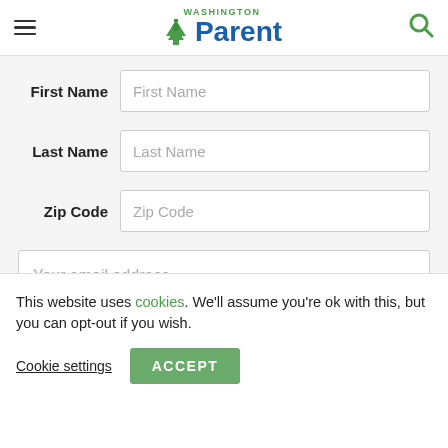Washington Parent — navigation header with hamburger menu and search icon
First Name
Last Name
Zip Code
Your email address
SUBMIT
This website uses cookies. We'll assume you're ok with this, but you can opt-out if you wish.
Cookie settings
ACCEPT